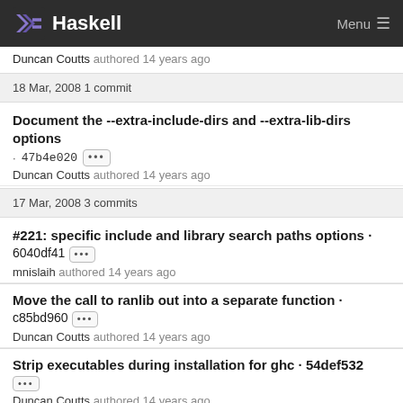Haskell  Menu
Duncan Coutts authored 14 years ago
18 Mar, 2008 1 commit
Document the --extra-include-dirs and --extra-lib-dirs options
· 47b4e020 [...] Duncan Coutts authored 14 years ago
17 Mar, 2008 3 commits
#221: specific include and library search paths options · 6040df41
mnislaih authored 14 years ago
Move the call to ranlib out into a separate function · c85bd960
Duncan Coutts authored 14 years ago
Strip executables during installation for ghc · 54def532
Duncan Coutts authored 14 years ago